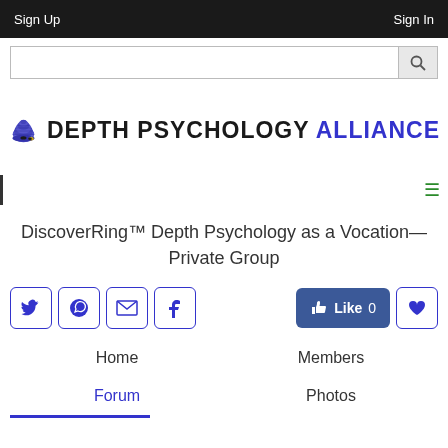Sign Up  Sign In
[Figure (screenshot): Search bar with magnifying glass icon]
[Figure (logo): Depth Psychology Alliance logo with beehive and bee illustration]
DiscoverRing™ Depth Psychology as a Vocation—Private Group
[Figure (infographic): Social sharing buttons: Twitter, WhatsApp, email, Facebook, Like 0 button, heart/favorite button]
Home
Members
Forum
Photos